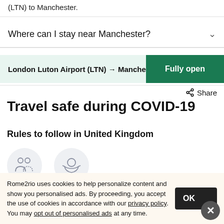(LTN) to Manchester.
Where can I stay near Manchester?
London Luton Airport (LTN) → Manchester   Fully open
Share
Travel safe during COVID-19
Rules to follow in United Kingdom
[Figure (illustration): Two person icons representing social distancing]
[Figure (illustration): Person wearing mask icon]
Rome2rio uses cookies to help personalize content and show you personalised ads. By proceeding, you accept the use of cookies in accordance with our privacy policy. You may opt out of personalised ads at any time.